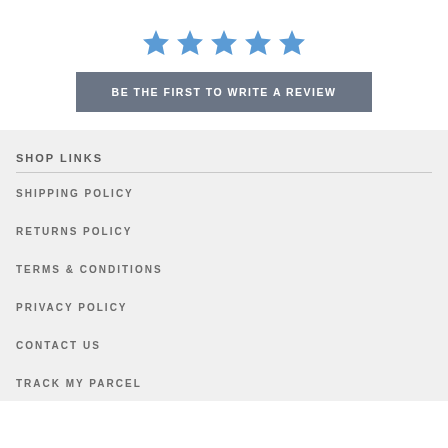[Figure (infographic): Five blue star icons in a row representing a 5-star rating]
BE THE FIRST TO WRITE A REVIEW
SHOP LINKS
SHIPPING POLICY
RETURNS POLICY
TERMS & CONDITIONS
PRIVACY POLICY
CONTACT US
TRACK MY PARCEL